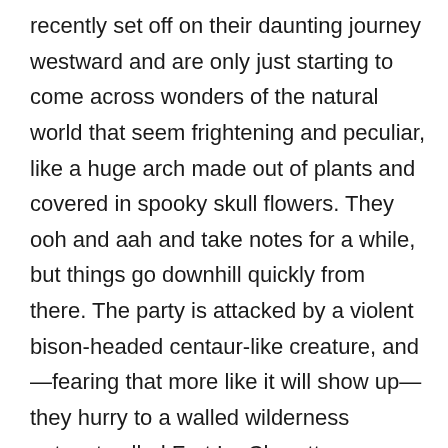recently set off on their daunting journey westward and are only just starting to come across wonders of the natural world that seem frightening and peculiar, like a huge arch made out of plants and covered in spooky skull flowers. They ooh and aah and take notes for a while, but things go downhill quickly from there. The party is attacked by a violent bison-headed centaur-like creature, and—fearing that more like it will show up—they hurry to a walled wilderness outpost called Fort La Charette. Unfortunately, they find that the inhabitants of the outpost are becoming unwitting hosts to a strange and contagious plant that takes control of their minds. When Toussaint Charbonneau, a French wilderness guide, and his wife Sacajawea show up, the party is able to fight off more of the centaur creatures that are lurking in the woods and escape to their riverboat, but most of the people at the